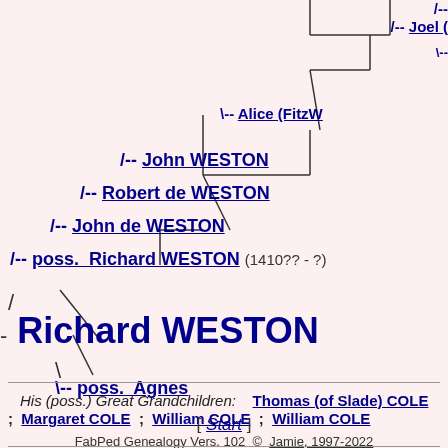[Figure (organizational-chart): Genealogy family tree showing ancestors of Richard WESTON. Tree lines connecting: /-- John WESTON, /-- Robert de WESTON, /-- John de WESTON, /-- poss. Richard WESTON (1410?? - ?), leading to - Richard WESTON, with descendant \-- poss. Agnes. Upper right shows partial entries: /-- Joel ( and \-- Alice (FitzW]
His (poss.) Great Grandchildren: Thomas (of Slade) COLE ; Margaret COLE ; William COLE ; William COLE
[ Start ]
FabPed Genealogy Vers. 102  ©  Jamie, 1997-2022